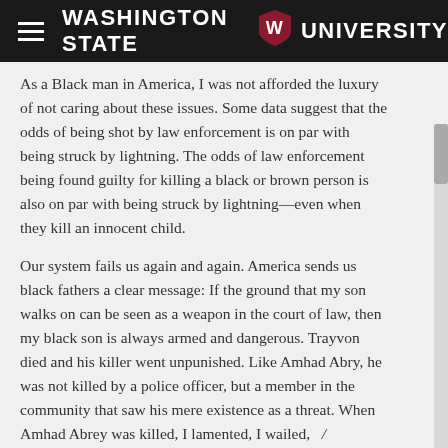Washington State University
As a Black man in America, I was not afforded the luxury of not caring about these issues. Some data suggest that the odds of being shot by law enforcement is on par with being struck by lightning. The odds of law enforcement being found guilty for killing a black or brown person is also on par with being struck by lightning—even when they kill an innocent child.
Our system fails us again and again. America sends us black fathers a clear message: If the ground that my son walks on can be seen as a weapon in the court of law, then my black son is always armed and dangerous. Trayvon died and his killer went unpunished. Like Amhad Abry, he was not killed by a police officer, but a member in the community that saw his mere existence as a threat. When Amhad Abrey was killed, I lamented, I wailed,